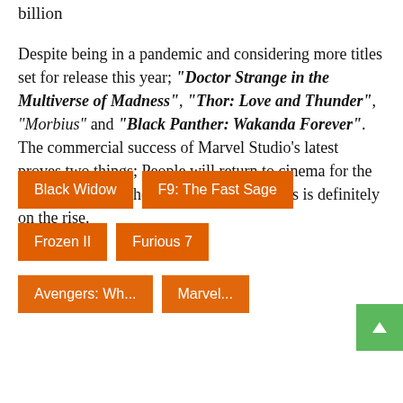billion
Despite being in a pandemic and considering more titles set for release this year; "Doctor Strange in the Multiverse of Madness", "Thor: Love and Thunder", "Morbius" and "Black Panther: Wakanda Forever". The commercial success of Marvel Studio's latest proves two things; People will return to cinema for the right movie, and the appeal for MCU flicks is definitely on the rise.
Black Widow
F9: The Fast Sage
Frozen II
Furious 7